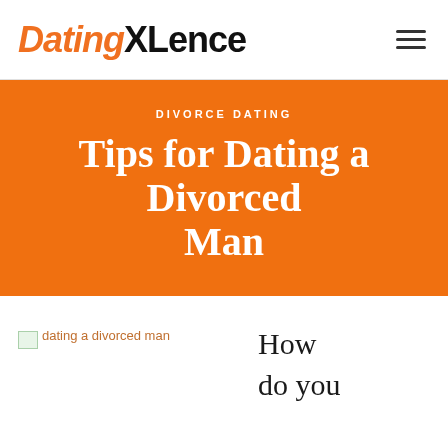DatingXLence
DIVORCE DATING
Tips for Dating a Divorced Man
[Figure (illustration): Broken image placeholder with alt text 'dating a divorced man']
How do you start dating a